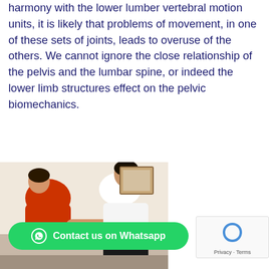harmony with the lower lumber vertebral motion units, it is likely that problems of movement, in one of these sets of joints, leads to overuse of the others. We cannot ignore the close relationship of the pelvis and the lumbar spine, or indeed the lower limb structures effect on the pelvic biomechanics.
[Figure (photo): A physiotherapist in a red top examining or treating a patient in a white t-shirt by placing hands on the patient's lower back/pelvis area.]
Contact us on Whatsapp